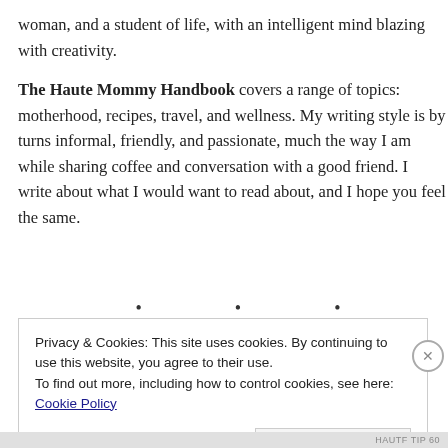woman, and a student of life, with an intelligent mind blazing with creativity.
The Haute Mommy Handbook covers a range of topics: motherhood, recipes, travel, and wellness. My writing style is by turns informal, friendly, and passionate, much the way I am while sharing coffee and conversation with a good friend. I write about what I would want to read about, and I hope you feel the same.
• • •
Privacy & Cookies: This site uses cookies. By continuing to use this website, you agree to their use.
To find out more, including how to control cookies, see here:
Cookie Policy
Close and accept